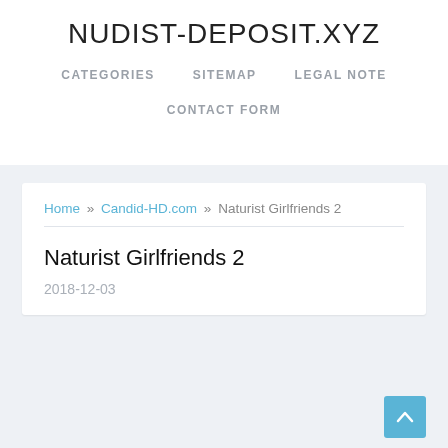NUDIST-DEPOSIT.XYZ
CATEGORIES   SITEMAP   LEGAL NOTE
CONTACT FORM
Home » Candid-HD.com » Naturist Girlfriends 2
Naturist Girlfriends 2
2018-12-03